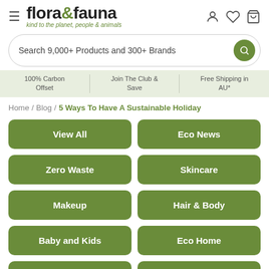flora&fauna - kind to the planet, people & animals
Search 9,000+ Products and 300+ Brands
100% Carbon Offset | Join The Club & Save | Free Shipping in AU*
Home / Blog / 5 Ways To Have A Sustainable Holiday
View All
Eco News
Zero Waste
Skincare
Makeup
Hair & Body
Baby and Kids
Eco Home
Pet
Food & Health